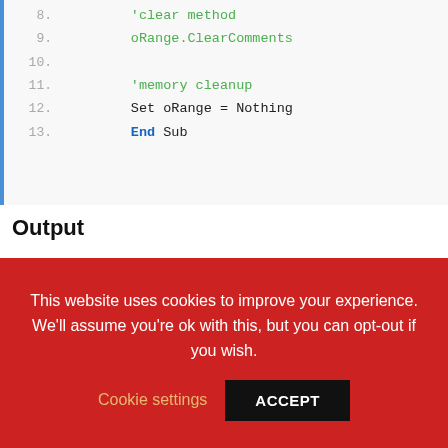[Figure (screenshot): VBA code snippet showing lines 8-13: line 8 has comment 'clear method, line 9 has oRange.ClearComments in green, line 10 is blank, line 11 has comment 'memory cleanup, line 12 has Set oRange = Nothing, line 13 has End Sub with End in bold blue]
Output
[Figure (screenshot): Excel spreadsheet showing column A with row header triangle, column A header in green, row 1 with value 2 in white cell, row 2 with value 3 in gray cell, both with teal/green border]
This website uses cookies to improve your experience. We'll assume you're ok with this, but you can opt-out if you wish.
Cookie settings   ACCEPT